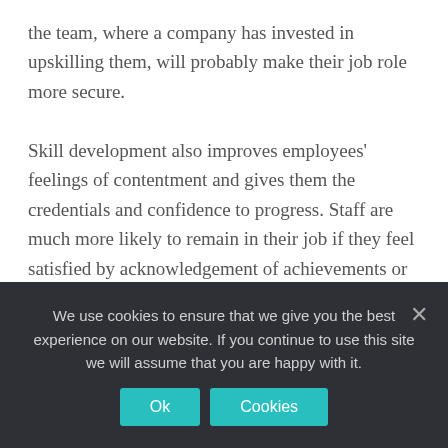the team, where a company has invested in upskilling them, will probably make their job role more secure.

Skill development also improves employees' feelings of contentment and gives them the credentials and confidence to progress. Staff are much more likely to remain in their job if they feel satisfied by acknowledgement of achievements or are rewarded with promotions. By providing that development for the employee, a
We use cookies to ensure that we give you the best experience on our website. If you continue to use this site we will assume that you are happy with it.